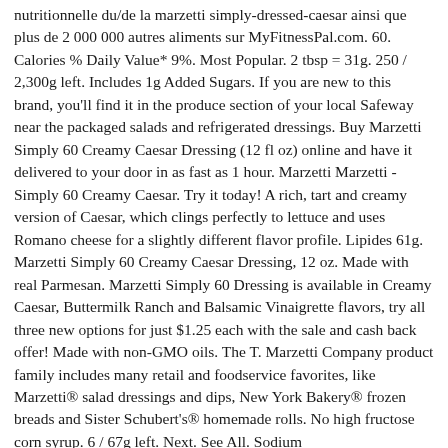nutritionnelle du/de la marzetti simply-dressed-caesar ainsi que plus de 2 000 000 autres aliments sur MyFitnessPal.com. 60. Calories % Daily Value* 9%. Most Popular. 2 tbsp = 31g. 250 / 2,300g left. Includes 1g Added Sugars. If you are new to this brand, you'll find it in the produce section of your local Safeway near the packaged salads and refrigerated dressings. Buy Marzetti Simply 60 Creamy Caesar Dressing (12 fl oz) online and have it delivered to your door in as fast as 1 hour. Marzetti Marzetti - Simply 60 Creamy Caesar. Try it today! A rich, tart and creamy version of Caesar, which clings perfectly to lettuce and uses Romano cheese for a slightly different flavor profile. Lipides 61g. Marzetti Simply 60 Creamy Caesar Dressing, 12 oz. Made with real Parmesan. Marzetti Simply 60 Dressing is available in Creamy Caesar, Buttermilk Ranch and Balsamic Vinaigrette flavors, try all three new options for just $1.25 each with the sale and cash back offer! Made with non-GMO oils. The T. Marzetti Company product family includes many retail and foodservice favorites, like Marzetti® salad dressings and dips, New York Bakery® frozen breads and Sister Schubert's® homemade rolls. No high fructose corn syrup. 6 / 67g left. Next. See All. Sodium